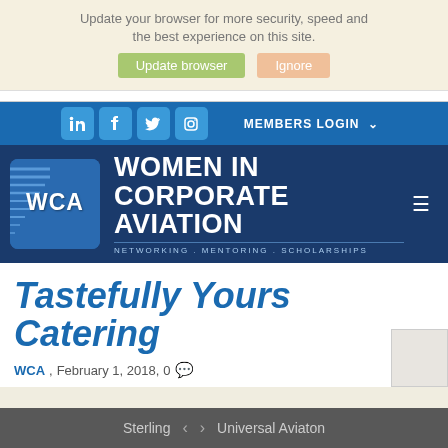Update your browser for more security, speed and the best experience on this site.
[Figure (screenshot): Browser update bar with 'Update browser' (green button) and 'Ignore' (peach button)]
[Figure (logo): Women in Corporate Aviation (WCA) website header with social media icons (LinkedIn, Facebook, Twitter, Instagram), Members Login button, WCA logo, and hamburger menu]
Tastefully Yours Catering
WCA, February 1, 2018, 0 comments
Sterling < > Universal Aviaton